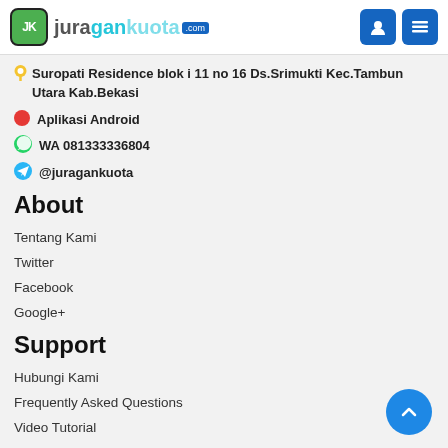juragankuota.com
📍 Suropati Residence blok i 11 no 16 Ds.Srimukti Kec.Tambun Utara Kab.Bekasi
🔴 Aplikasi Android
💬 WA 081333336804
✈ @juragankuota
About
Tentang Kami
Twitter
Facebook
Google+
Support
Hubungi Kami
Frequently Asked Questions
Video Tutorial